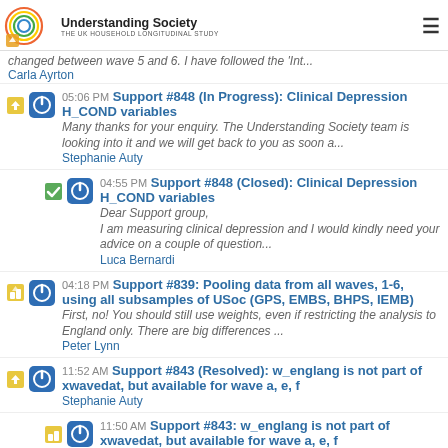Understanding Society — THE UK HOUSEHOLD LONGITUDINAL STUDY
changed between wave 5 and 6. I have followed the 'Int...
Carla Ayrton
05:06 PM Support #848 (In Progress): Clinical Depression H_COND variables — Many thanks for your enquiry. The Understanding Society team is looking into it and we will get back to you as soon a... — Stephanie Auty
04:55 PM Support #848 (Closed): Clinical Depression H_COND variables — Dear Support group, I am measuring clinical depression and I would kindly need your advice on a couple of question... — Luca Bernardi
04:18 PM Support #839: Pooling data from all waves, 1-6, using all subsamples of USoc (GPS, EMBS, BHPS, IEMB) — First, no! You should still use weights, even if restricting the analysis to England only. There are big differences ... — Peter Lynn
11:52 AM Support #843 (Resolved): w_englang is not part of xwavedat, but available for wave a, e, f — Stephanie Auty
11:50 AM Support #843: w_englang is not part of xwavedat, but available for wave a, e, f — Dear Stephanie, I appreciate your reply and your comments on my